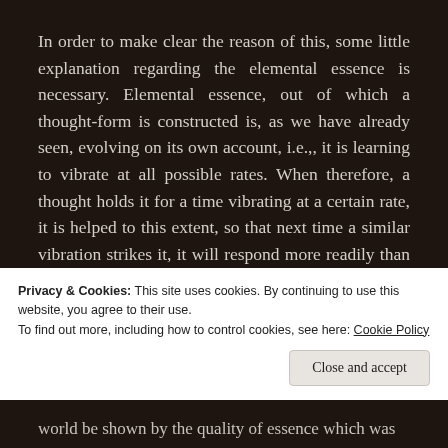In order to make clear the reason of this, some little explanation regarding the elemental essence is necessary. Elemental essence, out of which a thought-form is constructed is, as we have already seen, evolving on its own account, i.e.,, it is learning to vibrate at all possible rates. When therefore, a thought holds it for a time vibrating at a certain rate, it is helped to this extent, so that next time a similar vibration strikes it, it will respond more readily than before. Whether the thought ensouling it is evil or good makes
Privacy & Cookies: This site uses cookies. By continuing to use this website, you agree to their use.
To find out more, including how to control cookies, see here: Cookie Policy
Close and accept
world be shown by the quality of essence which was